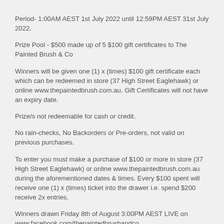Period- 1:00AM AEST 1st July 2022 until 12:59PM AEST 31st July 2022.
Prize Pool - $500 made up of 5 $100 gift certificates to The Painted Brush & Co
Winners will be given one (1) x (times) $100 gift certificate each which can be redeemed in store (37 High Street Eaglehawk) or online www.thepaintedbrush.com.au. Gift Certificates will not have an expiry date.
Prize/s not redeemable for cash or credit.
No rain-checks, No Backorders or Pre-orders, not valid on previous purchases.
To enter you must make a purchase of $100 or more in store (37 High Street Eaglehawk) or online www.thepaintedbrush.com.au during the aforementioned dates & times. Every $100 spent will receive one (1) x (times) ticket into the drawer i.e. spend $200 receive 2x entries.
Winners drawn Friday 8th of August 3:00PM AEST LIVE on www.facebook.com/thepaintedbrushandco